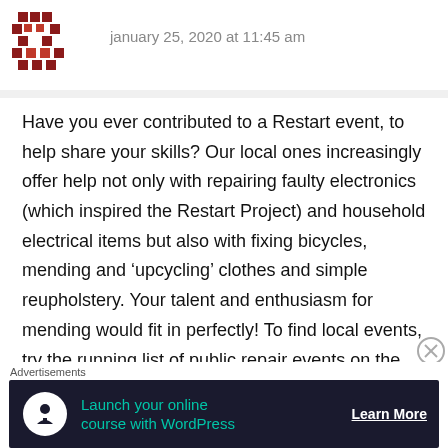january 25, 2020 at 11:45 am
Have you ever contributed to a Restart event, to help share your skills? Our local ones increasingly offer help not only with repairing faulty electronics (which inspired the Restart Project) and household electrical items but also with fixing bicycles, mending and ‘upcycling’ clothes and simple reupholstery. Your talent and enthusiasm for mending would fit in perfectly! To find local events, try the running list of public repair events on the Restart Project’s website, at
[Figure (logo): Red pixelated/blocky logo icon in top left]
Advertisements
[Figure (infographic): Dark navy advertisement banner: white circle icon with a person/tree, teal text 'Launch your online course with WordPress', white bold 'Learn More' with underline]